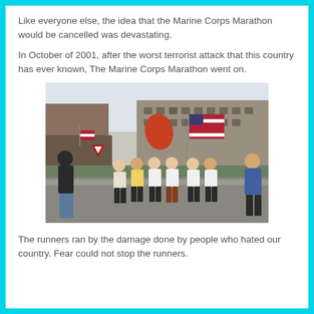Like everyone else, the idea that the Marine Corps Marathon would be cancelled was devastating.
In October of 2001, after the worst terrorist attack that this country has ever known, The Marine Corps Marathon went on.
[Figure (photo): Marathon runners carrying American flags and a Marine Corps flag running past the damaged Pentagon building, with a man in dark clothing watching from the left and a woman in a blue jacket watching from the right.]
The runners ran by the damage done by people who hated our country.  Fear could not stop the runners.